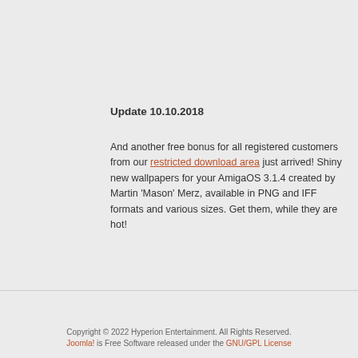Update 10.10.2018
And another free bonus for all registered customers from our restricted download area just arrived! Shiny new wallpapers for your AmigaOS 3.1.4 created by Martin 'Mason' Merz, available in PNG and IFF formats and various sizes. Get them, while they are hot!
Copyright © 2022 Hyperion Entertainment. All Rights Reserved. Joomla! is Free Software released under the GNU/GPL License